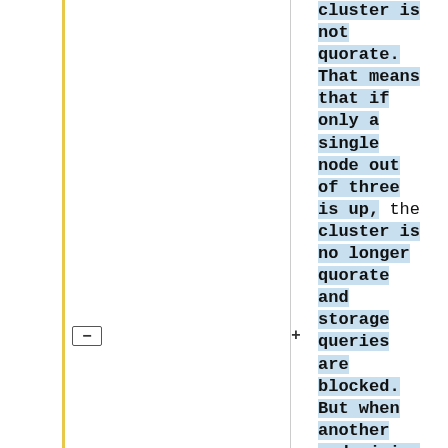cluster is not quorate. That means that if only a single node out of three is up, the cluster is no longer quorate and storage queries are blocked. But when another node joins the